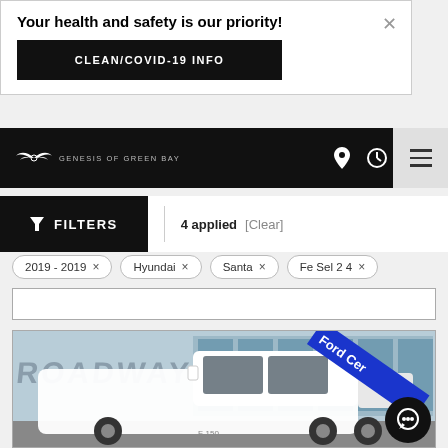Your health and safety is our priority!
CLEAN/COVID-19 INFO
[Figure (screenshot): Genesis of Green Bay dealership navigation bar with logo, location, clock, phone icons and hamburger menu]
FILTERS  |  4 applied  [Clear]
2019 - 2019 ×
Hyundai ×
Santa ×
Fe Sel 2 4 ×
[Figure (photo): White Ford F-150 pickup truck parked in front of a dealership building with Broadway signage. Ford Certified ribbon in blue on upper right corner of image.]